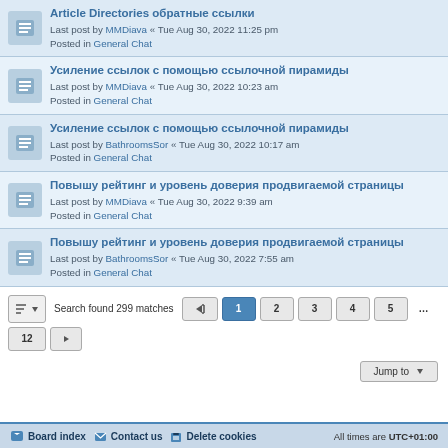Article Directories обратные ссылки
Last post by MMDiava « Tue Aug 30, 2022 11:25 pm
Posted in General Chat
Усиление ссылок с помощью ссылочной пирамиды
Last post by MMDiava « Tue Aug 30, 2022 10:23 am
Posted in General Chat
Усиление ссылок с помощью ссылочной пирамиды
Last post by BathroomsSor « Tue Aug 30, 2022 10:17 am
Posted in General Chat
Повышу рейтинг и уровень доверия продвигаемой страницы
Last post by MMDiava « Tue Aug 30, 2022 9:39 am
Posted in General Chat
Повышу рейтинг и уровень доверия продвигаемой страницы
Last post by BathroomsSor « Tue Aug 30, 2022 7:55 am
Posted in General Chat
Search found 299 matches
Board index   Contact us   Delete cookies   All times are UTC+01:00